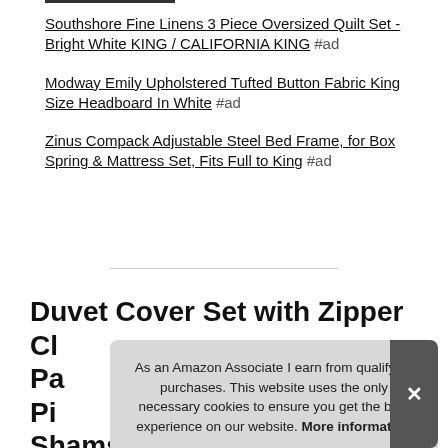Southshore Fine Linens 3 Piece Oversized Quilt Set - Bright White KING / CALIFORNIA KING #ad
Modway Emily Upholstered Tufted Button Fabric King Size Headboard In White #ad
Zinus Compack Adjustable Steel Bed Frame, for Box Spring & Mattress Set, Fits Full to King #ad
Duvet Cover Set with Zipper Cl... Pa... Pi... Shams 110 gsm Ultra Soft
As an Amazon Associate I earn from qualifying purchases. This website uses the only necessary cookies to ensure you get the best experience on our website. More information